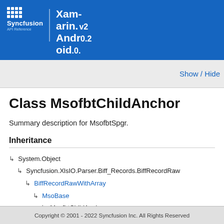Syncfusion API Reference — Xamarin.Android v2.0.0.43
Class MsofbtChildAnchor
Summary description for MsofbtSpgr.
Inheritance
↳  System.Object
↳  Syncfusion.XlsIO.Parser.Biff_Records.BiffRecordRaw
↳  BiffRecordRawWithArray
↳  MsoBase
↳  MsofbtChildAnchor
Copyright © 2001 - 2022 Syncfusion Inc. All Rights Reserved